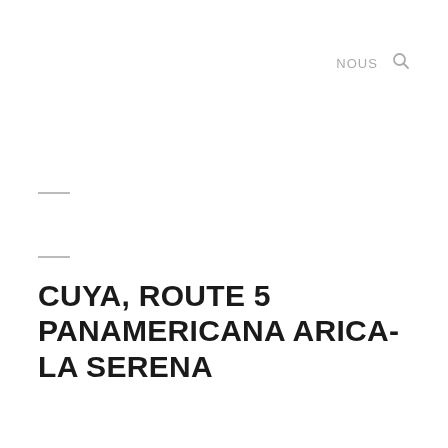NOUS
CUYA, ROUTE 5 PANAMERICANA ARICA-LA SERENA